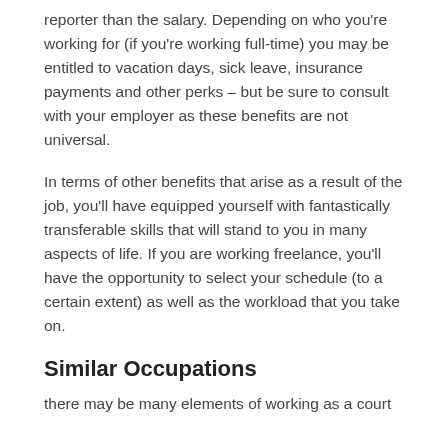reporter than the salary. Depending on who you're working for (if you're working full-time) you may be entitled to vacation days, sick leave, insurance payments and other perks – but be sure to consult with your employer as these benefits are not universal.
In terms of other benefits that arise as a result of the job, you'll have equipped yourself with fantastically transferable skills that will stand to you in many aspects of life. If you are working freelance, you'll have the opportunity to select your schedule (to a certain extent) as well as the workload that you take on.
Similar Occupations
there may be many elements of working as a court